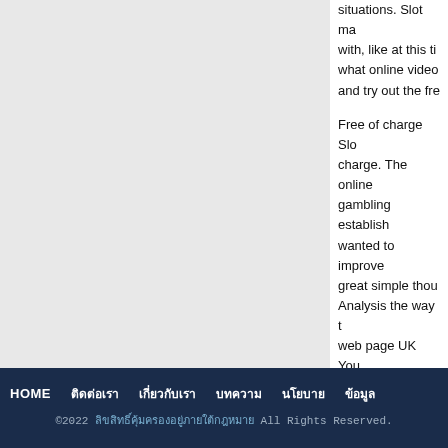situations. Slot ma with, like at this ti what online video and try out the fre
Free of charge Slo charge. The online gambling establish wanted to improve great simple thou Analysis the way t web page UK You for entertainment t
HOME  ติดต่อเรา  เกี่ยวกับเรา  บทความ  นโยบาย  ข้อมูล  ©2022 ลิขสิทธิ์คุ้มครองอยู่ภายใต้กฎหมาย All Rights Reserved.